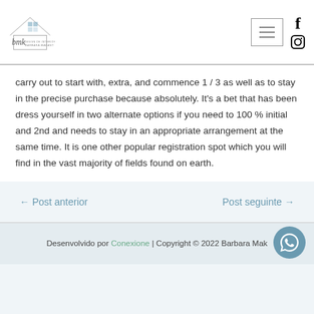[Figure (logo): BMK Design de Interiores - Barbara Makant logo with house outline and signature]
carry out to start with, extra, and commence 1 / 3 as well as to stay in the precise purchase because absolutely. It's a bet that has been dress yourself in two alternate options if you need to 100 % initial and 2nd and needs to stay in an appropriate arrangement at the same time. It is one other popular registration spot which you will find in the vast majority of fields found on earth.
← Post anterior
Post seguinte →
Desenvolvido por Conexione | Copyright © 2022 Barbara Makant